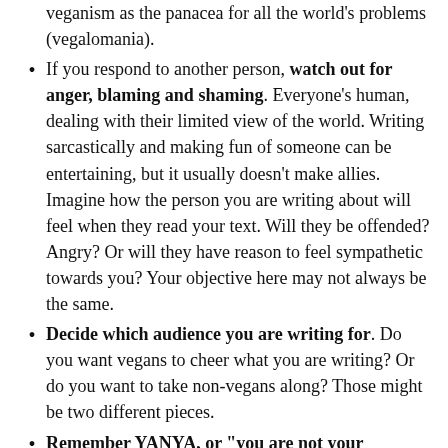veganism as the panacea for all the world's problems (vegalomania).
If you respond to another person, watch out for anger, blaming and shaming. Everyone's human, dealing with their limited view of the world. Writing sarcastically and making fun of someone can be entertaining, but it usually doesn't make allies. Imagine how the person you are writing about will feel when they read your text. Will they be offended? Angry? Or will they have reason to feel sympathetic towards you? Your objective here may not always be the same.
Decide which audience you are writing for. Do you want vegans to cheer what you are writing? Or do you want to take non-vegans along? Those might be two different pieces.
Remember YANYA, or "you are not your